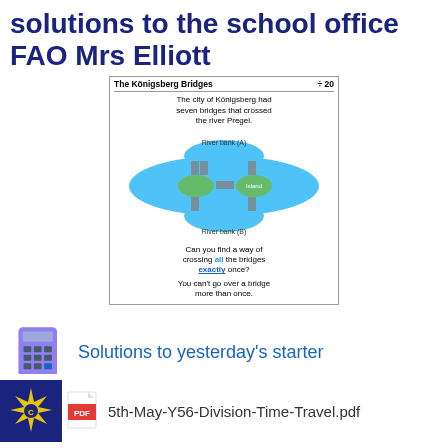solutions to the school office FAO Mrs Elliott
[Figure (infographic): The Königsberg Bridges puzzle card showing a map of Königsberg with seven bridges crossing the river Pregel, asking if you can cross all the bridges exactly once.]
[Figure (illustration): A graphical icon of a calculator (purple/grey) next to the text 'Solutions to yesterday's starter']
Solutions to yesterday's starter
Year 5&6 'I See Maths' - watch the video and try the task
[Figure (other): Bottom-left corner badge with a gold star/cog icon on dark navy background. A PDF icon next to it. Filename: 5th-May-Y56-Division-Time-Travel.pdf]